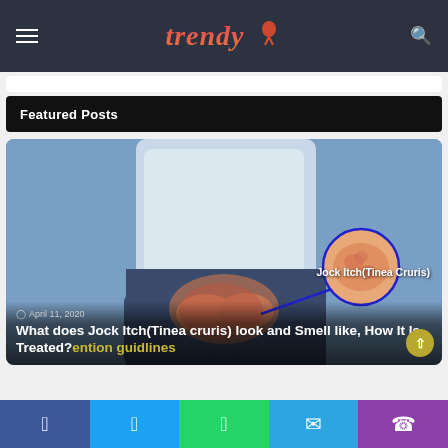Trendy
Featured Posts
[Figure (photo): Person holding groin area with a zoomed inset circle showing a reddish skin rash, labeled Jock Itch (Tinea Cruris). Blue arrow pointing from the person to the circular inset showing the rash closeup.]
Jock Itch(Tinea Cruris)
April 11, 2020
What does Jock Itch(Tinea cruris) look and Smell like, How It Is Treated?
ention guidlines